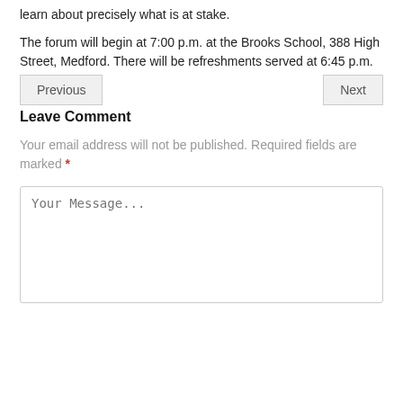learn about precisely what is at stake.
The forum will begin at 7:00 p.m. at the Brooks School, 388 High Street, Medford. There will be refreshments served at 6:45 p.m.
Previous
Next
Leave Comment
Your email address will not be published. Required fields are marked *
Your Message...